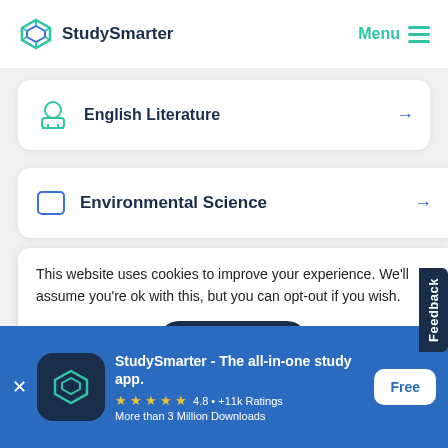StudySmarter | Menu
English Literature
Environmental Science
This website uses cookies to improve your experience. We'll assume you're ok with this, but you can opt-out if you wish.
Accept
[Figure (screenshot): StudySmarter app banner with icon, rating 4.8 +11k Ratings, More than 3 Million Downloads, Free button]